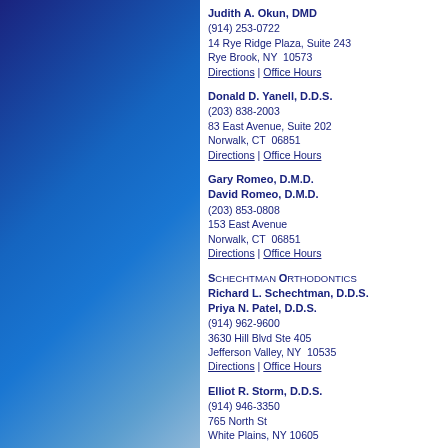Judith A. Okun, DMD
(914) 253-0722
14 Rye Ridge Plaza, Suite 243
Rye Brook, NY  10573
Directions | Office Hours
Donald D. Yanell, D.D.S.
(203) 838-2003
83 East Avenue, Suite 202
Norwalk, CT  06851
Directions | Office Hours
Gary Romeo, D.M.D.
David Romeo, D.M.D.
(203) 853-0808
153 East Avenue
Norwalk, CT  06851
Directions | Office Hours
Schechtman Orthodontics
Richard L. Schechtman, D.D.S.
Priya N. Patel, D.D.S.
(914) 962-9600
3630 Hill Blvd Ste 405
Jefferson Valley, NY  10535
Directions | Office Hours
Elliot R. Storm, D.D.S.
(914) 946-3350
765 North St
White Plains, NY  10605